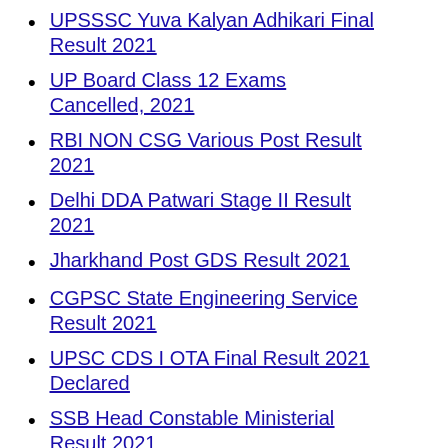UPSSSC Yuva Kalyan Adhikari Final Result 2021
UP Board Class 12 Exams Cancelled, 2021
RBI NON CSG Various Post Result 2021
Delhi DDA Patwari Stage II Result 2021
Jharkhand Post GDS Result 2021
CGPSC State Engineering Service Result 2021
UPSC CDS I OTA Final Result 2021 Declared
SSB Head Constable Ministerial Result 2021
IBPS RRB IX Officer Scale-I Reserve List 2021